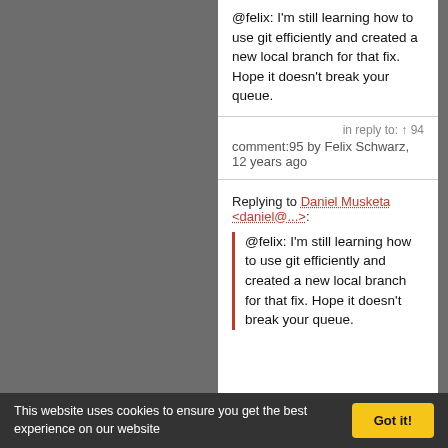@felix: I'm still learning how to use git efficiently and created a new local branch for that fix. Hope it doesn't break your queue.
in reply to: ↑ 94
comment:95 by Felix Schwarz, 12 years ago
Replying to Daniel Musketa <daniel@...>:
@felix: I'm still learning how to use git efficiently and created a new local branch for that fix. Hope it doesn't break your queue.
This website uses cookies to ensure you get the best experience on our website